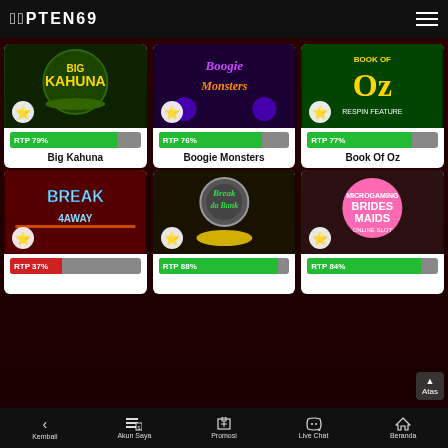FFPTEN69
[Figure (screenshot): Big Kahuna slot game thumbnail with palm trees and tropical theme]
RTP 79%
Big Kahuna
[Figure (screenshot): Boogie Monsters slot game thumbnail with purple monster theme]
RTP 76%
Boogie Monsters
[Figure (screenshot): Book Of Oz slot game thumbnail with green book and golden OZ text]
RTP 77%
Book Of Oz
[Figure (screenshot): Break Away slot game thumbnail with ice hockey theme and fire]
RTP 37%
[Figure (screenshot): Break da Bank slot game thumbnail with vault and gold coins]
RTP 88%
[Figure (screenshot): Bridesmaids online slot game thumbnail with pink circle logo]
RTP 84%
Kembali   Akun Saya   Promosi   Live Chat   Beranda